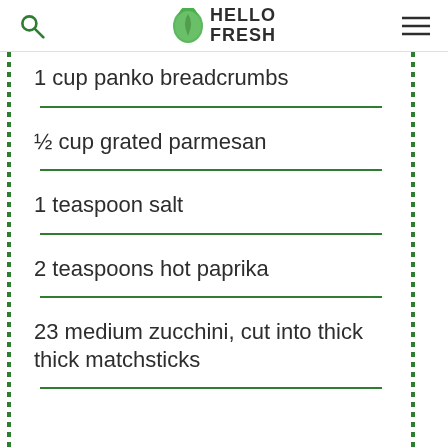HELLO FRESH
1 cup panko breadcrumbs
½ cup grated parmesan
1 teaspoon salt
2 teaspoons hot paprika
23 medium zucchini, cut into thick thick matchsticks